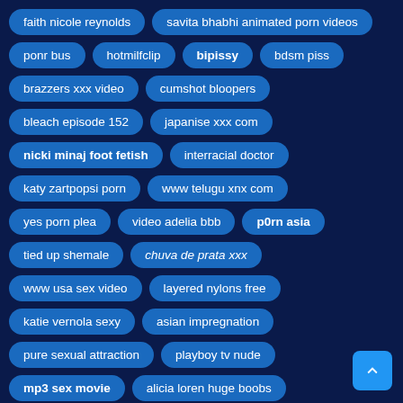faith nicole reynolds
savita bhabhi animated porn videos
ponr bus
hotmilfclip
bipissy
bdsm piss
brazzers xxx video
cumshot bloopers
bleach episode 152
japanise xxx com
nicki minaj foot fetish
interracial doctor
katy zartpopsi porn
www telugu xnx com
yes porn plea
video adelia bbb
p0rn asia
tied up shemale
chuva de prata xxx
www usa sex video
layered nylons free
katie vernola sexy
asian impregnation
pure sexual attraction
playboy tv nude
mp3 sex movie
alicia loren huge boobs
jenna presley anal
pivete tcp
asian beauty tube